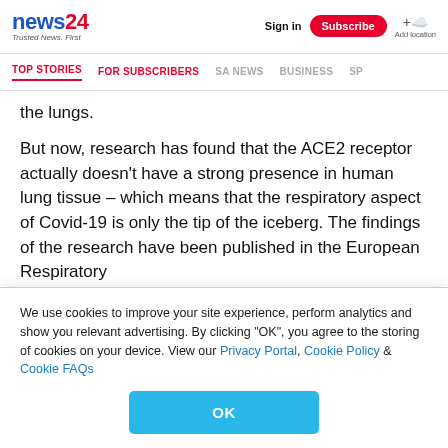news24 | Trusted News. First | Sign in | Subscribe | Add location
TOP STORIES | FOR SUBSCRIBERS | SA NEWS | BUSINESS | SP...
the lungs.
But now, research has found that the ACE2 receptor actually doesn't have a strong presence in human lung tissue – which means that the respiratory aspect of Covid-19 is only the tip of the iceberg. The findings of the research have been published in the European Respiratory
We use cookies to improve your site experience, perform analytics and show you relevant advertising. By clicking "OK", you agree to the storing of cookies on your device. View our Privacy Portal, Cookie Policy & Cookie FAQs
OK